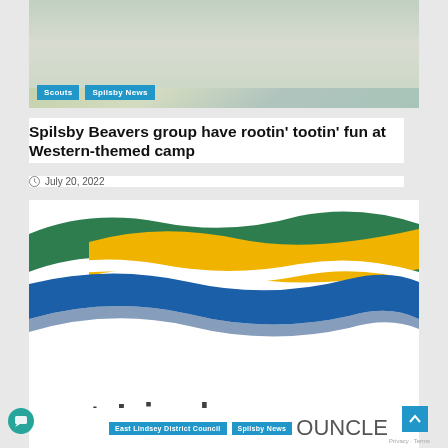[Figure (photo): Children at a table with craft materials and leaves, Scout camp activity]
Scouts | Spilsby News
Spilsby Beavers group have rootin' tootin' fun at Western-themed camp
July 20, 2022
[Figure (logo): East Lindsey District Council logo with wave design in green, yellow, and blue, with text 'east Lindse...' and 'DISTRICT COUNCIL' partially visible]
East Lindsey District Council | Spilsby News